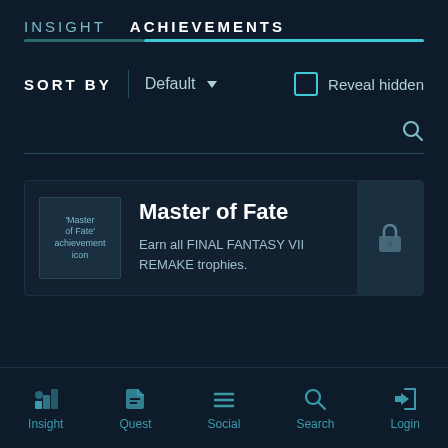INSIGHT   ACHIEVEMENTS
SORT BY   Default   Reveal hidden
[Figure (screenshot): Search bar with magnifying glass icon]
Master of Fate
Earn all FINAL FANTASY VII REMAKE trophies.
Insight  Quest  Social  Search  Login